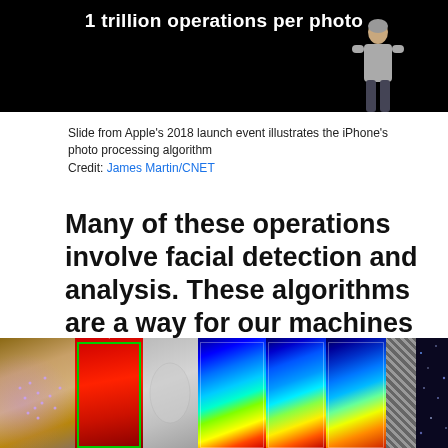[Figure (photo): Dark slide from Apple's 2018 keynote showing text '1 trillion operations per photo' with a presenter standing on stage]
Slide from Apple's 2018 launch event illustrates the iPhone's photo processing algorithm
Credit: James Martin/CNET
Many of these operations involve facial detection and analysis. These algorithms are a way for our machines to look at–and, more importantly, categorize–us.
[Figure (photo): Strip of facial analysis images showing various computer vision processing stages: original photo, mesh overlay, thermal/infrared views, heat maps, and noise pattern]